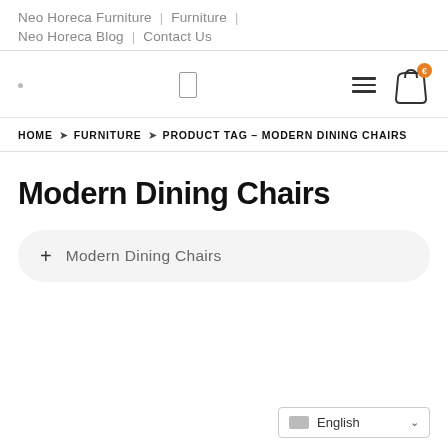Neo Horeca Furniture | Furniture | Neo Horeca Blog | Contact Us
[Figure (screenshot): Website header bar with search icon, hamburger menu, and cart icon with orange badge]
HOME › FURNITURE › PRODUCT TAG – MODERN DINING CHAIRS
Modern Dining Chairs
+ Modern Dining Chairs
English